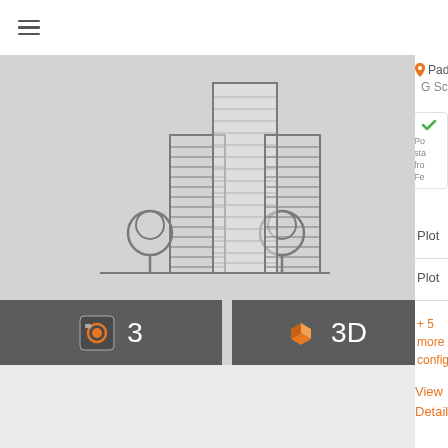[Figure (screenshot): Mobile app interface showing a real estate listing. Left portion shows a building illustration (grey office/apartment building icon) in a light grey area. Bottom of image has two dark grey badges: one with a photo icon and '3', another with a 3D cube icon and '3D'. Right side panel (partially visible) shows location pin with 'Padu', subtitle 'G Sc', a green checkmark badge with text 'Po... sta... fro... Fe...', two 'Plot' labels separated by dividers, an orange '+ 5 more configu' link, and orange 'View Details' text.]
3
3D
Padu
G Sc
Po
sta
fro
Fe
Plot
Plot
+ 5
more
Configu
View
Details